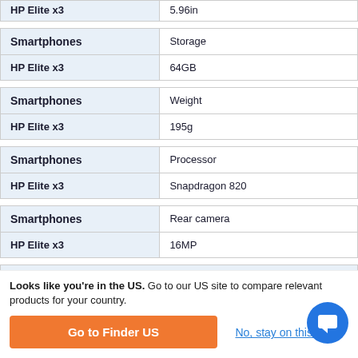| Smartphones | Storage |
| --- | --- |
| HP Elite x3 | 64GB |
| Smartphones | Weight |
| --- | --- |
| HP Elite x3 | 195g |
| Smartphones | Processor |
| --- | --- |
| HP Elite x3 | Snapdragon 820 |
| Smartphones | Rear camera |
| --- | --- |
| HP Elite x3 | 16MP |
Looks like you're in the US. Go to our US site to compare relevant products for your country.
Go to Finder US
No, stay on this page